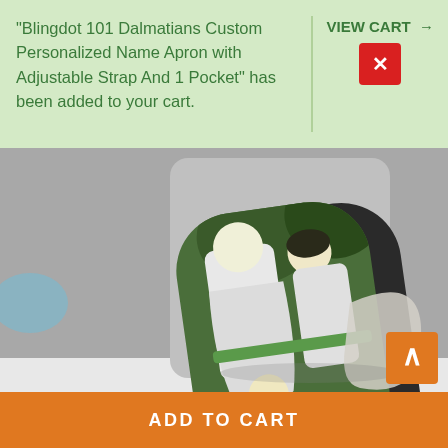"Blingdot 101 Dalmatians Custom Personalized Name Apron with Adjustable Strap And 1 Pocket" has been added to your cart.
VIEW CART →
[Figure (photo): A phone grip/stand accessory with anime artwork printed on it showing multiple characters in green and white, propped up on a white surface with a blurred gray background.]
ADD TO CART